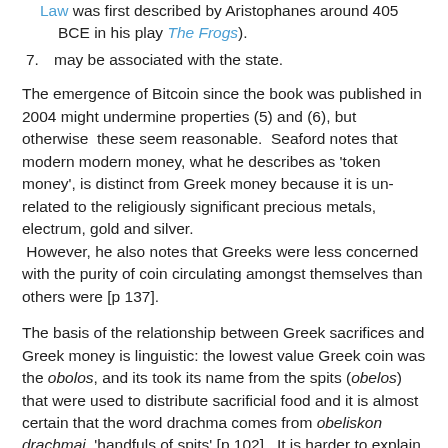Law was first described by Aristophanes around 405 BCE in his play The Frogs).
7. may be associated with the state.
The emergence of Bitcoin since the book was published in 2004 might undermine properties (5) and (6), but otherwise these seem reasonable. Seaford notes that modern modern money, what he describes as 'token money', is distinct from Greek money because it is un-related to the religiously significant precious metals, electrum, gold and silver. However, he also notes that Greeks were less concerned with the purity of coin circulating amongst themselves than others were [p 137].
The basis of the relationship between Greek sacrifices and Greek money is linguistic: the lowest value Greek coin was the obolos, and its took its name from the spits (obelos) that were used to distribute sacrificial food and it is almost certain that the word drachma comes from obeliskon drachmai, 'handfuls of spits' [p 102]. It is harder to explain why spits turned into coin money [6.B] but I think the following passage is significant.